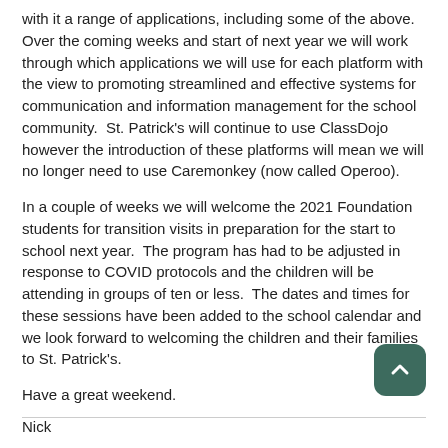with it a range of applications, including some of the above.  Over the coming weeks and start of next year we will work through which applications we will use for each platform with the view to promoting streamlined and effective systems for communication and information management for the school community.  St. Patrick's will continue to use ClassDojo however the introduction of these platforms will mean we will no longer need to use Caremonkey (now called Operoo).
In a couple of weeks we will welcome the 2021 Foundation students for transition visits in preparation for the start to school next year.  The program has had to be adjusted in response to COVID protocols and the children will be attending in groups of ten or less.  The dates and times for these sessions have been added to the school calendar and we look forward to welcoming the children and their families to St. Patrick's.
Have a great weekend.
Nick